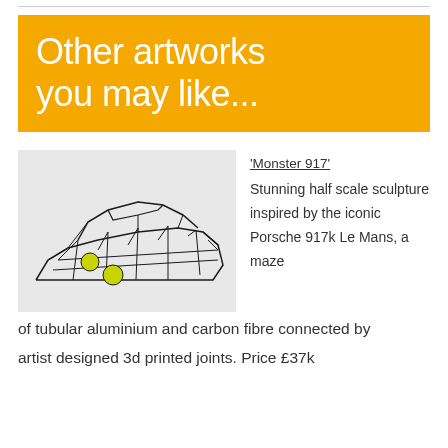Other artworks you may like...
[Figure (photo): Wire frame/mesh sculpture of a Porsche 917k Le Mans race car, half scale, made of tubular aluminium and carbon fibre with yellow circular accents, photographed on white background]
‘Monster 917’
Stunning half scale sculpture inspired by the iconic Porsche 917k Le Mans, a maze of tubular aluminium and carbon fibre connected by artist designed 3d printed joints. Price £37k